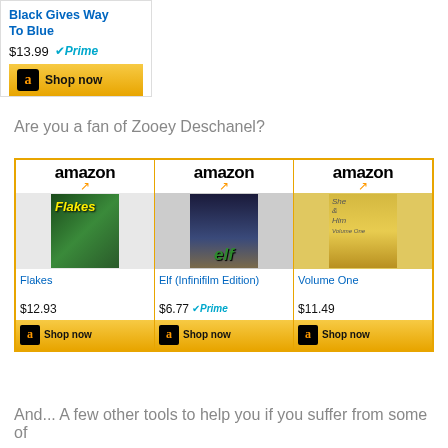Black Gives Way To Blue
$13.99 Prime
Shop now
Are you a fan of Zooey Deschanel?
[Figure (other): Three Amazon product listings in a grid: Flakes ($12.93), Elf Infinifilm Edition ($6.77 Prime), Volume One ($11.49), each with Shop now buttons]
And... A few other tools to help you if you suffer from some of